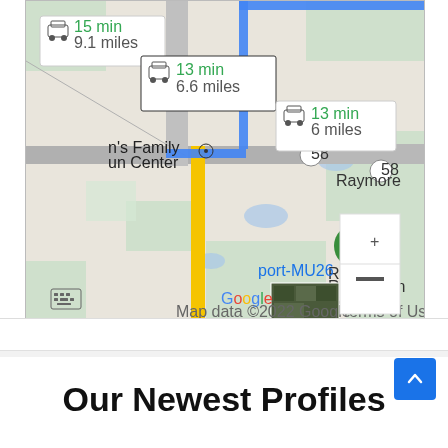[Figure (map): Google Maps screenshot showing driving routes to a location near Raymore, Missouri. Three route options shown: 15 min / 9.1 miles, 13 min / 6.6 miles (highlighted in blue), and 13 min / 6 miles. Map shows Raymore Recreation Park, route 58, and a yellow road. Zoom controls (+/-) visible. Map data ©2022 Google.]
Our Newest Profiles